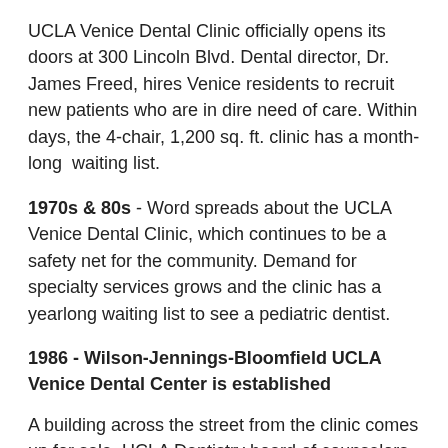UCLA Venice Dental Clinic officially opens its doors at 300 Lincoln Blvd. Dental director, Dr. James Freed, hires Venice residents to recruit new patients who are in dire need of care. Within days, the 4-chair, 1,200 sq. ft. clinic has a month-long waiting list.
1970s & 80s - Word spreads about the UCLA Venice Dental Clinic, which continues to be a safety net for the community. Demand for specialty services grows and the clinic has a yearlong waiting list to see a pediatric dentist.
1986 - Wilson-Jennings-Bloomfield UCLA Venice Dental Center is established
A building across the street from the clinic comes up for sale. UCLA Dentistry board of counselors members, Bob Wilson, Gerald Jennings, and Bill Bloomfield, join their families to purchase the building, spurring the establishment of the Wilson-Jennings-Bloomfield UCLA